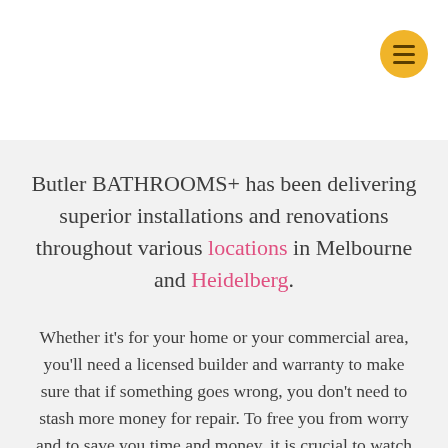[Figure (other): Hamburger menu button - orange/yellow circular button with three horizontal lines]
Butler BATHROOMS+ has been delivering superior installations and renovations throughout various locations in Melbourne and Heidelberg.
Whether it's for your home or your commercial area, you'll need a licensed builder and warranty to make sure that if something goes wrong, you don't need to stash more money for repair. To free you from worry and to save you time and money, it is crucial to watch out for water leaks at home. The initial installation must be done with precision to avoid leak concerns in the future. Moreover, subsequent work must not damage the waterproofing structure previously installed. This is